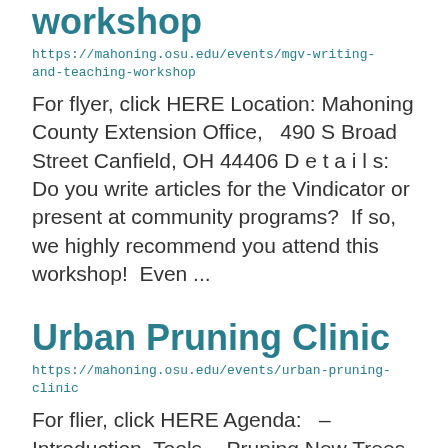workshop
https://mahoning.osu.edu/events/mgv-writing-and-teaching-workshop
For flyer, click HERE Location: Mahoning County Extension Office,  490 S Broad Street Canfield, OH 44406 D e t a i l s: Do you write articles for the Vindicator or present at community programs?  If so, we highly recommend you attend this workshop!  Even ...
Urban Pruning Clinic
https://mahoning.osu.edu/events/urban-pruning-clinic
For flier, click HERE Agenda:  - Introduction  Tools  - Pruning New Trees  -